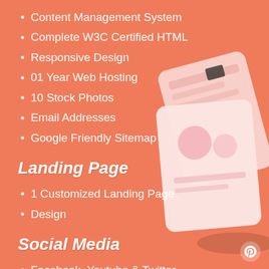Content Management System
Complete W3C Certified HTML
Responsive Design
01 Year Web Hosting
10 Stock Photos
Email Addresses
Google Friendly Sitemap
Landing Page
1 Customized Landing Page
Design
Social Media
Facebook, Youtube & Twitter
Pages Design